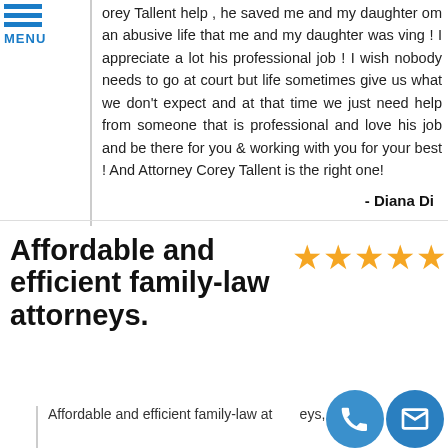MENU
orey Tallent help , he saved me and my daughter om an abusive life that me and my daughter was ving ! I appreciate a lot his professional job ! I wish nobody needs to go at court but life sometimes give us what we don't expect and at that time we just need help from someone that is professional and love his job and be there for you & working with you for your best ! And Attorney Corey Tallent is the right one!
- Diana Di
Affordable and efficient family-law attorneys.
[Figure (other): Five gold star rating icons]
Affordable and efficient family-law attorneys,
[Figure (other): Phone and email contact icons]